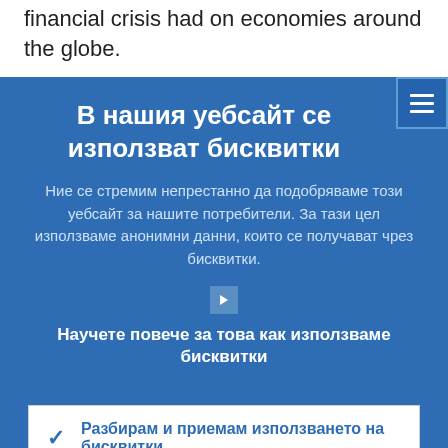financial crisis had on economies around the globe.
В нашия уебсайт се използват бисквитки
Ние се стремим непрестанно да подобряваме този уебсайт за нашите потребители. За тази цел използваме анонимни данни, които се получават чрез бисквитки.
Научете повече за това как използваме бисквитки
Разбирам и приемам използването на бисквитки
Не приемам използването на бисквитки